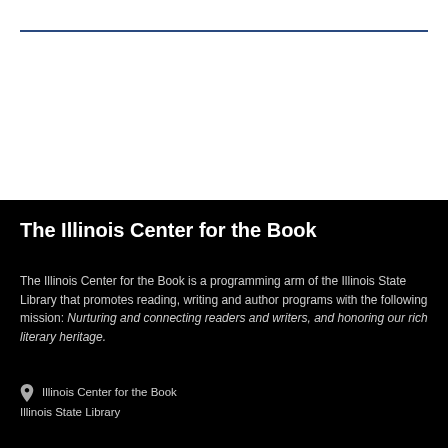The Illinois Center for the Book
The Illinois Center for the Book is a programming arm of the Illinois State Library that promotes reading, writing and author programs with the following mission: Nurturing and connecting readers and writers, and honoring our rich literary heritage.
Illinois Center for the Book
Illinois State Library